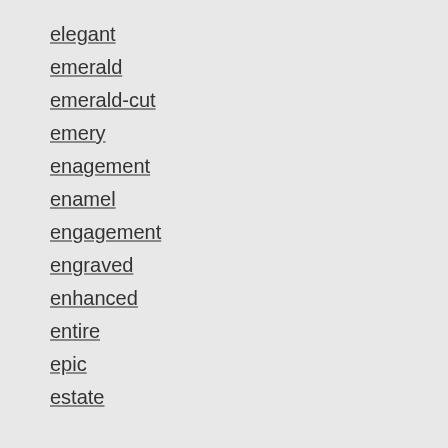elegant
emerald
emerald-cut
emery
enagement
enamel
engagement
engraved
enhanced
entire
epic
estate